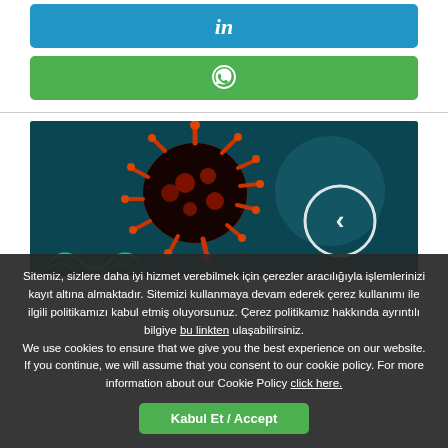[Figure (other): LinkedIn share button — blue rounded rectangle with white 'in' LinkedIn logo]
[Figure (other): WhatsApp share button — green rounded rectangle with white WhatsApp phone/chat icon]
[Figure (photo): Red coronavirus particle 3D render on teal/dark background with a circular back-arrow navigation button overlaid]
Sitemiz, sizlere daha iyi hizmet verebilmek için çerezler aracılığıyla işlemlerinizi kayıt altına almaktadır. Sitemizi kullanmaya devam ederek çerez kullanımı ile ilgili politikamızı kabul etmiş oluyorsunuz. Çerez politikamız hakkında ayrıntılı bilgiye bu linkten ulaşabilirsiniz. We use cookies to ensure that we give you the best experience on our website. If you continue, we will assume that you consent to our cookie policy. For more information about our Cookie Policy click here.
Kabul Et / Accept